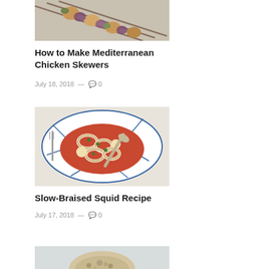[Figure (photo): Food skewers with chicken and vegetables on a baking tray]
How to Make Mediterranean Chicken Skewers
July 18, 2018  —  💬 0
[Figure (photo): Slow-braised squid in tomato sauce served in a blue and white patterned bowl with a spoon]
Slow-Braised Squid Recipe
July 17, 2018  —  💬 0
[Figure (photo): Partial image of a food dish at the bottom of the page]